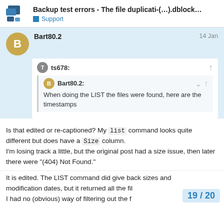Backup test errors - The file duplicati-(...).dblock... — Support
Bart80.2 — 14 Jan
ts678:
Bart80.2: When doing the LIST the files were found, here are the timestamps
Is that edited or re-captioned? My list command looks quite different but does have a Size column.
I'm losing track a little, but the original post had a size issue, then later there were "(404) Not Found."
It is edited. The LIST command did give back sizes and modification dates, but it returned all the fil... I had no (obvious) way of filtering out the f...
19 / 20